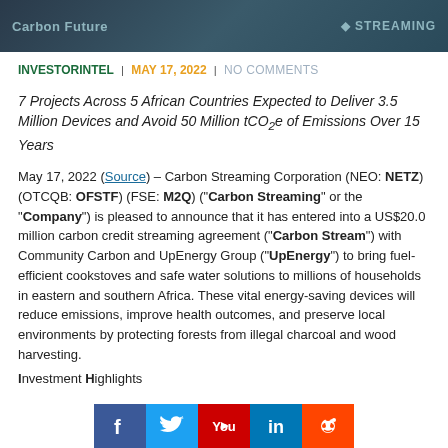[Figure (photo): Banner image with dark blue/teal background showing 'Carbon Future' text on left and 'STREAMING' text/logo on right]
INVESTORINTEL | MAY 17, 2022 | NO COMMENTS
7 Projects Across 5 African Countries Expected to Deliver 3.5 Million Devices and Avoid 50 Million tCO2e of Emissions Over 15 Years
May 17, 2022 (Source) – Carbon Streaming Corporation (NEO: NETZ) (OTCQB: OFSTF) (FSE: M2Q) ("Carbon Streaming" or the "Company") is pleased to announce that it has entered into a US$20.0 million carbon credit streaming agreement ("Carbon Stream") with Community Carbon and UpEnergy Group ("UpEnergy") to bring fuel-efficient cookstoves and safe water solutions to millions of households in eastern and southern Africa. These vital energy-saving devices will reduce emissions, improve health outcomes, and preserve local environments by protecting forests from illegal charcoal and wood harvesting.
Investment Highlights (partially visible)
[Figure (infographic): Social media share buttons: Facebook (blue), Twitter (light blue), YouTube (red), LinkedIn (blue), Reddit (orange)]